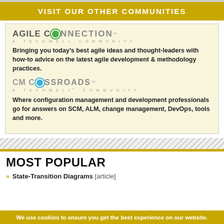VISIT OUR OTHER COMMUNITIES
[Figure (logo): Agile Connection - A TechWell Community logo]
Bringing you today's best agile ideas and thought-leaders with how-to advice on the latest agile development & methodology practices.
[Figure (logo): CM Crossroads - A TechWell Community logo]
Where configuration management and development professionals go for answers on SCM, ALM, change management, DevOps, tools and more.
MOST POPULAR
» State-Transition Diagrams [article]
We use cookies to ensure you get the best experience on our website.